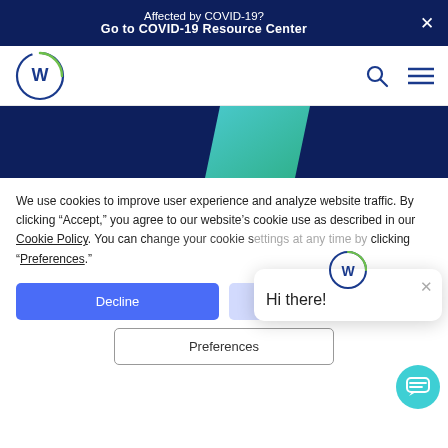Affected by COVID-19?
Go to COVID-19 Resource Center
[Figure (logo): W circular logo in navy and green]
[Figure (illustration): Hero banner with dark navy background and teal/green diagonal shape]
We use cookies to improve user experience and analyze website traffic. By clicking “Accept,” you agree to our website’s cookie use as described in our Cookie Policy. You can change your cookie settings at any time by clicking “Preferences.”
[Figure (screenshot): Cookie consent buttons: Decline, Accept, Preferences; chat popup with W logo and Hi there! greeting; teal chat bubble button]